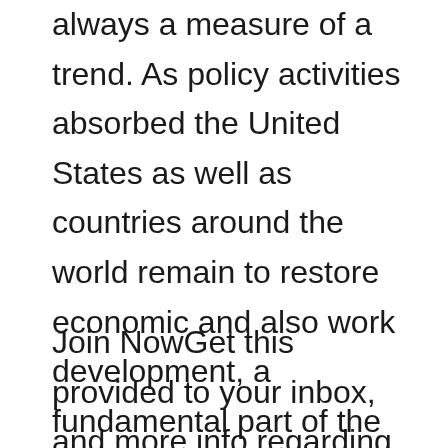always a measure of a trend. As policy activities absorbed the United States as well as countries around the world remain to restore economic and also work development, a fundamental part of the recovery will certainly be the remediation of trade growth.
Join NowGet this provided to your inbox, and more info regarding our product or services. The choice comes as the cost of ethanol has climbed to its highest level